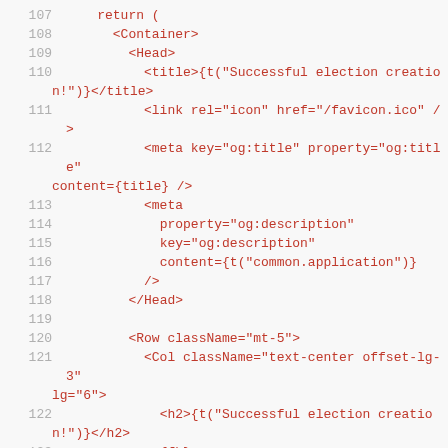107   return (
108     <Container>
109       <Head>
110         <title>{t("Successful election creation!")}</title>
111         <link rel="icon" href="/favicon.ico" />
112         <meta key="og:title" property="og:title" content={title} />
113         <meta
114           property="og:description"
115           key="og:description"
116           content={t("common.application")}
117         />
118       </Head>
119
120       <Row className="mt-5">
121         <Col className="text-center offset-lg-3" lg="6">
122           <h2>{t("Successful election creation!")}</h2>
123           {fb}
124         </Col>
125         </Row>